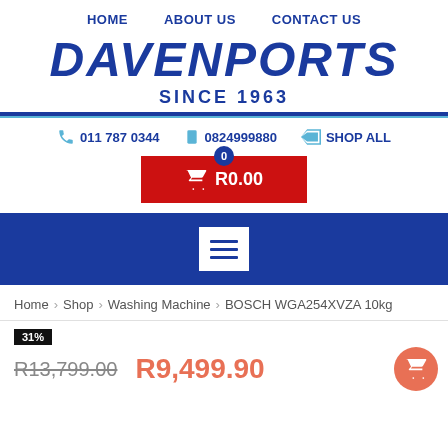HOME   ABOUT US   CONTACT US
DAVENPORTS
SINCE 1963
011 787 0344   0824999880   SHOP ALL
🛒 R0.00  (cart badge: 0)
[Figure (screenshot): Blue navigation bar with hamburger menu icon (white square with three horizontal lines)]
Home > Shop > Washing Machine > BOSCH WGA254XVZA 10kg
31%
R13,799.00   R9,499.90